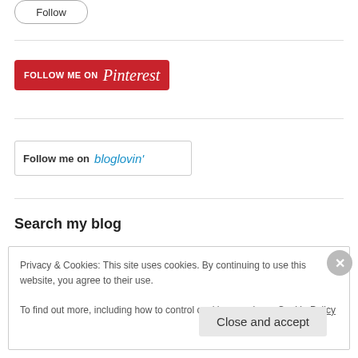[Figure (other): Follow button (pill-shaped outline button with 'Follow' text)]
[Figure (other): Follow me on Pinterest red button with Pinterest script logo]
[Figure (other): Follow me on bloglovin' button with blue italic logo]
Search my blog
Privacy & Cookies: This site uses cookies. By continuing to use this website, you agree to their use.
To find out more, including how to control cookies, see here: Cookie Policy
Close and accept